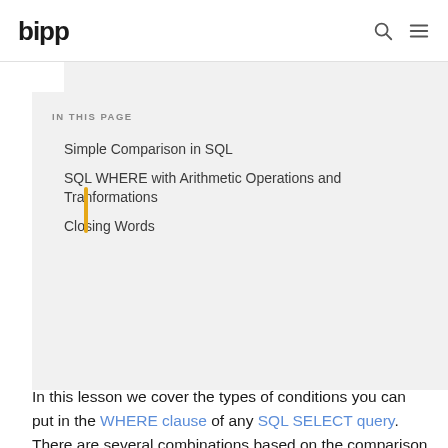bipp
IN THIS PAGE
Simple Comparison in SQL
SQL WHERE with Arithmetic Operations and Tranformations
Closing Words
In this lesson we cover the types of conditions you can put in the WHERE clause of any SQL SELECT query. There are several combinations based on the comparison operator and the data type of the